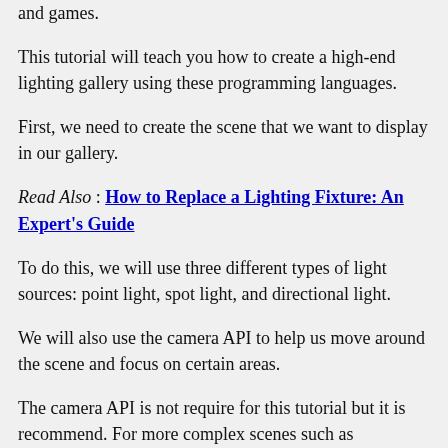and games.
This tutorial will teach you how to create a high-end lighting gallery using these programming languages.
First, we need to create the scene that we want to display in our gallery.
Read Also : How to Replace a Lighting Fixture: An Expert's Guide
To do this, we will use three different types of light sources: point light, spot light, and directional light.
We will also use the camera API to help us move around the scene and focus on certain areas.
The camera API is not require for this tutorial but it is recommend. For more complex scenes such as landscapes or interior scenes with multiple lights.
Table of Contents